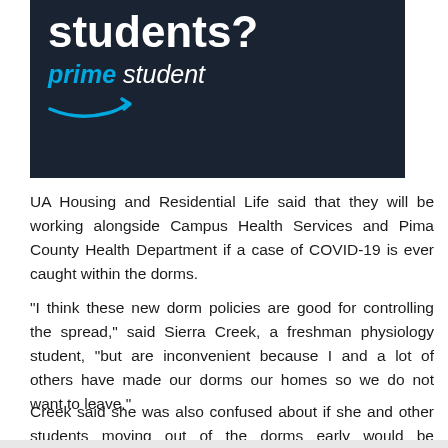[Figure (infographic): Amazon Prime Student advertisement banner on dark navy background showing 'students?' heading text in white and the Amazon Prime Student logo with blue arrow below]
UA Housing and Residential Life said that they will be working alongside Campus Health Services and Pima County Health Department if a case of COVID-19 is ever caught within the dorms.
“I think these new dorm policies are good for controlling the spread,” said Sierra Creek, a freshman physiology student, “but are inconvenient because I and a lot of others have made our dorms our homes so we do not want to leave.”
Creek said she was also confused about if she and other students moving out of the dorms early would be reimbursed.